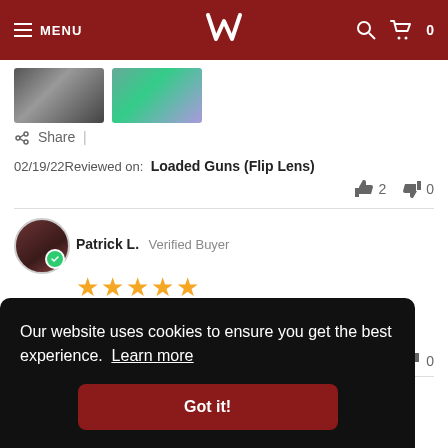MENU  [logo]  [search] [cart] 0
[Figure (photo): Two product image thumbnails]
Share |
02/19/22 Reviewed on: Loaded Guns (Flip Lens)
👍 2  👎 0
Patrick L. Verified Buyer ★★★★★
Autumn gamble hood
It's great. I love it. Very light weight abs durable
👎 0
Our website uses cookies to ensure you get the best experience. Learn more
Got it!
Fritz S. Verified Buyer